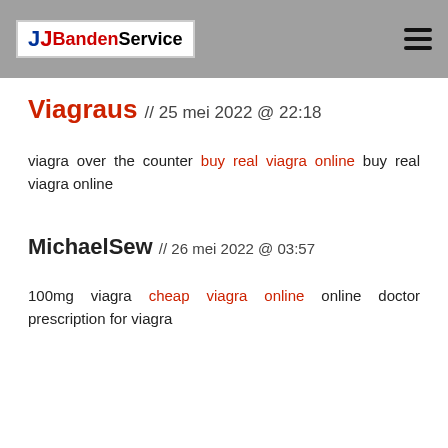JJ BandenService
Viagraus // 25 mei 2022 @ 22:18
viagra over the counter buy real viagra online buy real viagra online
MichaelSew // 26 mei 2022 @ 03:57
100mg viagra cheap viagra online online doctor prescription for viagra